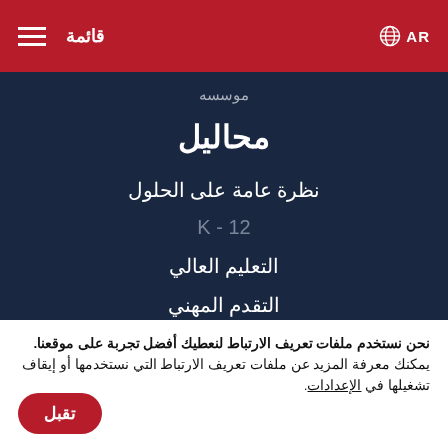قائمة | AR
موسسه
محاليل
نظرة عامة على الحلول
K - 12
التعليم العالي
التقدم المهني
امكانيه الوصول
ما هي التقسيمات عبر الانترنت؟
نحن نستخدم ملفات تعريف الارتباط لنعطيك أفضل تجربة على موقعنا. يمكنك معرفة المزيد عن ملفات تعريف الارتباط التي نستخدمها أو إيقاف تشغيلها في الإعدادات.
تقبل